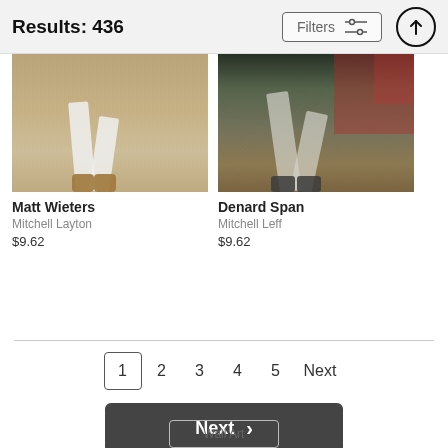Results: 436
Filters
[Figure (photo): Baseball player legs running, white uniform, dirt infield — Matt Wieters photo]
Matt Wieters
Mitchell Layton
$9.62
[Figure (photo): Baseball player legs mid-stride, gray uniform, crowd and dugout in background — Denard Span photo]
Denard Span
Mitchell Leff
$9.62
1  2  3  4  5  Next
Next
Wall Art